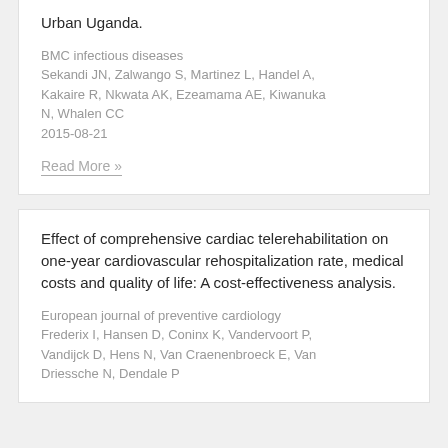Urban Uganda.
BMC infectious diseases
Sekandi JN, Zalwango S, Martinez L, Handel A, Kakaire R, Nkwata AK, Ezeamama AE, Kiwanuka N, Whalen CC
2015-08-21
Read More »
Effect of comprehensive cardiac telerehabilitation on one-year cardiovascular rehospitalization rate, medical costs and quality of life: A cost-effectiveness analysis.
European journal of preventive cardiology
Frederix I, Hansen D, Coninx K, Vandervoort P, Vandijck D, Hens N, Van Craenenbroeck E, Van Driessche N, Dendale P